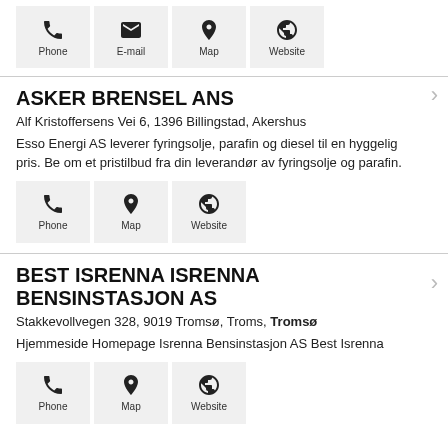[Figure (other): Icon buttons row: Phone, E-mail, Map, Website]
ASKER BRENSEL ANS
Alf Kristoffersens Vei 6, 1396 Billingstad, Akershus
Esso Energi AS leverer fyringsolje, parafin og diesel til en hyggelig pris. Be om et pristilbud fra din leverandør av fyringsolje og parafin.
[Figure (other): Icon buttons row: Phone, Map, Website]
BEST ISRENNA ISRENNA BENSINSTASJON AS
Stakkevollvegen 328, 9019 Tromsø, Troms, Tromsø
Hjemmeside Homepage Isrenna Bensinstasjon AS Best Isrenna
[Figure (other): Icon buttons row: Phone, Map, Website]